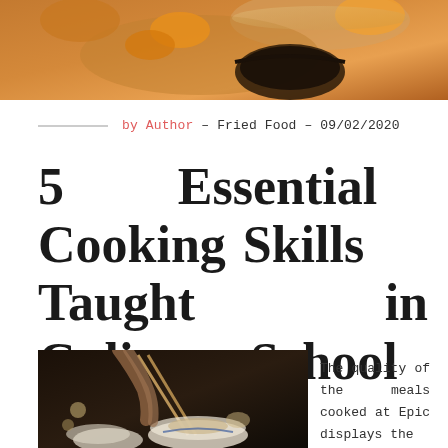[Figure (photo): Top banner photo of fried food in a bowl, warm orange tones]
by Author – Fried Food – 09/02/2020
5 Essential Cooking Skills Taught in Culinary School
[Figure (photo): Person using chopsticks over bowls of food, dark moody lighting]
The quality of the meals cooked at Epic displays the